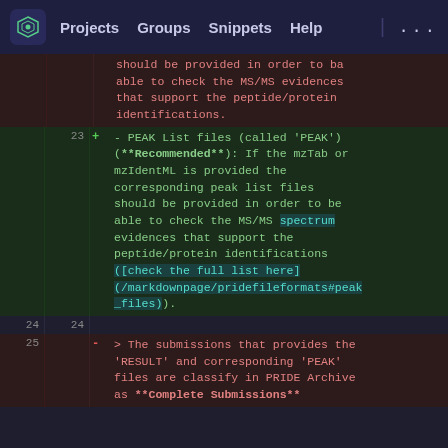Projects  Groups  Snippets  Help  ...
should be provided in order to ba able to check the MS/MS evidences that support the peptide/protein identifications.
23  + - PEAK List files (called 'PEAK') (**Recommended**): If the mzTab or mzIdentML is provided the corresponding peak list files should be provided in order to be able to check the MS/MS spectrum evidences that support the peptide/protein identifications ([check the full list here](/markdownpage/pridefileformats#peak_files)).
24  24
25  - > The submissions that provides the 'RESULT' and corresponding 'PEAK' files are classify in PRIDE Archive as **Complete Submissions**